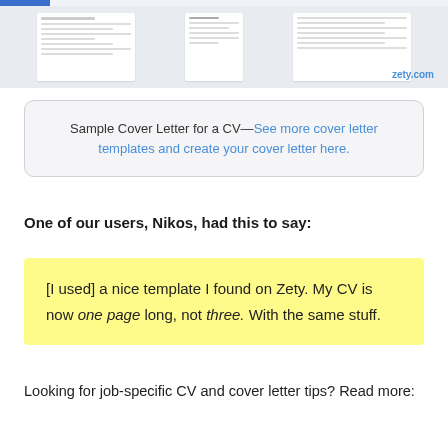[Figure (screenshot): Screenshot of cover letter and CV templates on zety.com, showing document cards with the zety.com watermark in blue text at bottom right.]
Sample Cover Letter for a CV—See more cover letter templates and create your cover letter here.
One of our users, Nikos, had this to say:
[I used] a nice template I found on Zety. My CV is now one page long, not three. With the same stuff.
Looking for job-specific CV and cover letter tips? Read more: